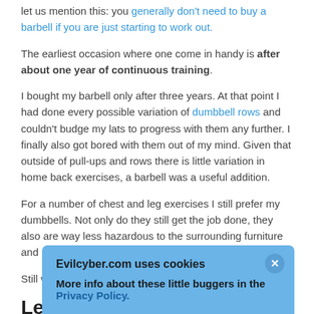let us mention this: you generally don't need to buy a barbell if you are just starting to work out.
The earliest occasion where one come in handy is after about one year of continuous training.
I bought my barbell only after three years. At that point I had done every possible variation of dumbbell rows and couldn't budge my lats to progress with them any further. I finally also got bored with them out of my mind. Given that outside of pull-ups and rows there is little variation in home back exercises, a barbell was a useful addition.
For a number of chest and leg exercises I still prefer my dumbbells. Not only do they still get the job done, they also are way less hazardous to the surrounding furniture and me (see below).
Still with me? Then let's get started.
Length
Wh... of y... are... ch
Evilcyber.com uses cookies
More info about these little buggers in the Privacy Policy.